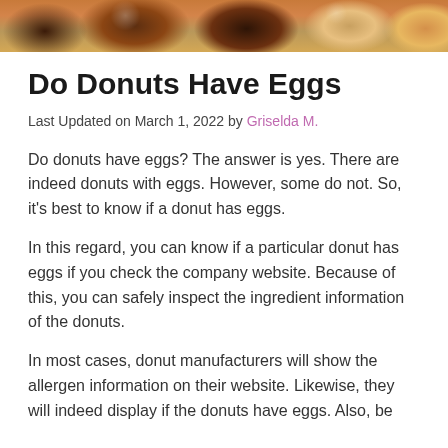[Figure (photo): Close-up photo strip of donuts with various glazes including chocolate and plain glazed donuts]
Do Donuts Have Eggs
Last Updated on March 1, 2022 by Griselda M.
Do donuts have eggs? The answer is yes. There are indeed donuts with eggs. However, some do not. So, it's best to know if a donut has eggs.
In this regard, you can know if a particular donut has eggs if you check the company website. Because of this, you can safely inspect the ingredient information of the donuts.
In most cases, donut manufacturers will show the allergen information on their website. Likewise, they will indeed display if the donuts have eggs. Also, be